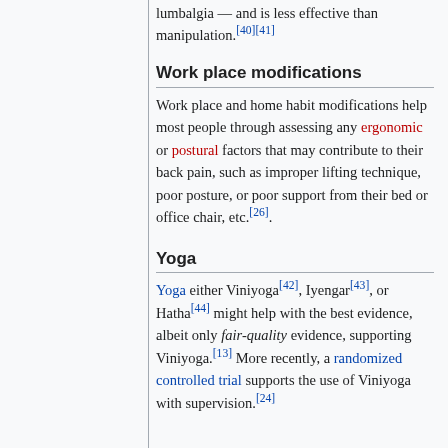lumbalgia — and is less effective than manipulation.[40][41]
Work place modifications
Work place and home habit modifications help most people through assessing any ergonomic or postural factors that may contribute to their back pain, such as improper lifting technique, poor posture, or poor support from their bed or office chair, etc.[26].
Yoga
Yoga either Viniyoga[42], Iyengar[43], or Hatha[44] might help with the best evidence, albeit only fair-quality evidence, supporting Viniyoga.[13] More recently, a randomized controlled trial supports the use of Viniyoga with supervision.[24]